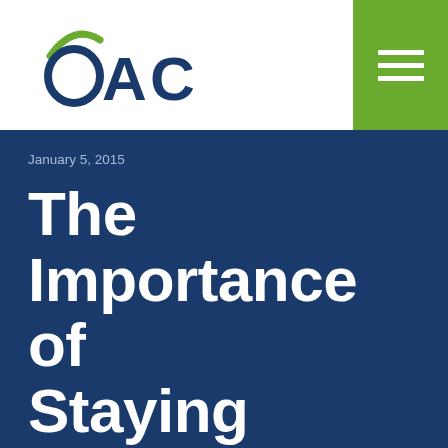[Figure (logo): OAC logo with green arc above letter O and dark blue letters OAC]
January 5, 2015
The Importance of Staying Active in Fighting